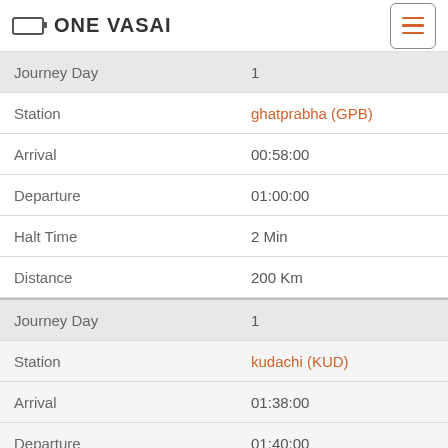ONE VASAI
| Field | Value |
| --- | --- |
| Journey Day | 1 |
| Station | ghatprabha (GPB) |
| Arrival | 00:58:00 |
| Departure | 01:00:00 |
| Halt Time | 2 Min |
| Distance | 200 Km |
| Journey Day | 1 |
| Station | kudachi (KUD) |
| Arrival | 01:38:00 |
| Departure | 01:40:00 |
| Halt Time | 2 Min |
| Distance | 246 Km |